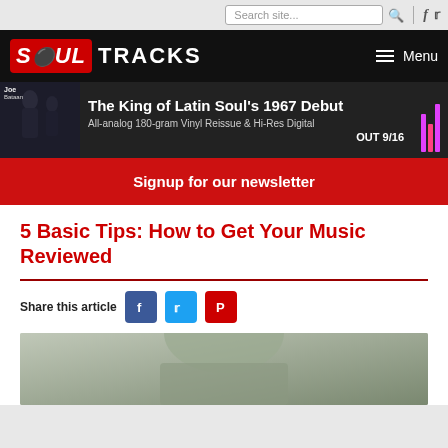Search site... [search icon] f [twitter icon]
[Figure (logo): Soul Tracks logo — SOUL in red box, TRACKS in white on black, Menu hamburger button]
[Figure (infographic): Banner ad: The King of Latin Soul's 1967 Debut. All-analog 180-gram Vinyl Reissue & Hi-Res Digital. OUT 9/16]
Signup for our newsletter
5 Basic Tips: How to Get Your Music Reviewed
Share this article [Facebook] [Twitter] [Pinterest]
[Figure (photo): Photo of a person, partially visible at bottom of page]